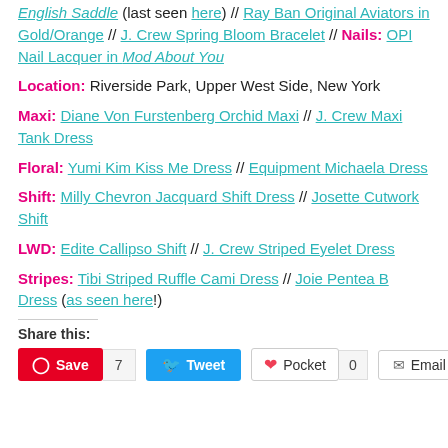English Saddle (last seen here) // Ray Ban Original Aviators in Gold/Orange // J. Crew Spring Bloom Bracelet // Nails: OPI Nail Lacquer in Mod About You
Location: Riverside Park, Upper West Side, New York
Maxi: Diane Von Furstenberg Orchid Maxi // J. Crew Maxi Tank Dress
Floral: Yumi Kim Kiss Me Dress // Equipment Michaela Dress
Shift: Milly Chevron Jacquard Shift Dress // Josette Cutwork Shift
LWD: Edite Callipso Shift // J. Crew Striped Eyelet Dress
Stripes: Tibi Striped Ruffle Cami Dress // Joie Pentea B Dress (as seen here!)
Share this: